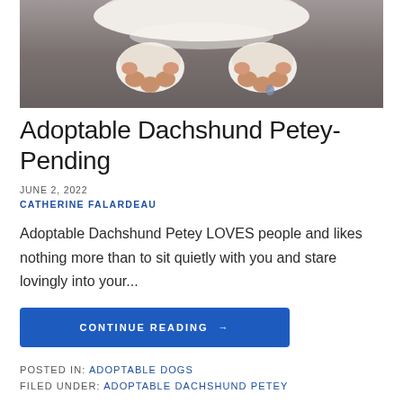[Figure (photo): Close-up photo of a white fluffy dog (Dachshund) paws/belly resting on a gray surface, viewed from above]
Adoptable Dachshund Petey- Pending
JUNE 2, 2022
CATHERINE FALARDEAU
Adoptable Dachshund Petey LOVES people and likes nothing more than to sit quietly with you and stare lovingly into your...
CONTINUE READING →
POSTED IN: ADOPTABLE DOGS
FILED UNDER: ADOPTABLE DACHSHUND PETEY